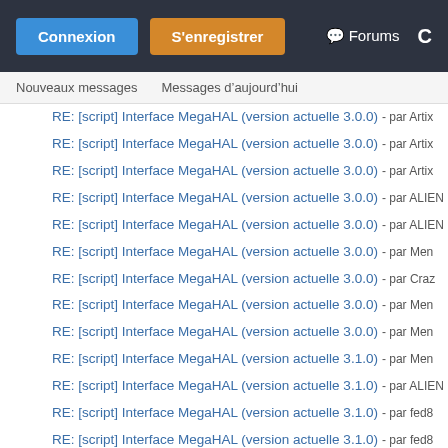Connexion | S'enregistrer | Forums
Nouveaux messages   Messages d'aujourd'hui
RE: [script] Interface MegaHAL (version actuelle 3.0.0) - par Artix
RE: [script] Interface MegaHAL (version actuelle 3.0.0) - par Artix
RE: [script] Interface MegaHAL (version actuelle 3.0.0) - par Artix
RE: [script] Interface MegaHAL (version actuelle 3.0.0) - par ALIEN
RE: [script] Interface MegaHAL (version actuelle 3.0.0) - par ALIEN
RE: [script] Interface MegaHAL (version actuelle 3.0.0) - par Men
RE: [script] Interface MegaHAL (version actuelle 3.0.0) - par Craz
RE: [script] Interface MegaHAL (version actuelle 3.0.0) - par Men
RE: [script] Interface MegaHAL (version actuelle 3.0.0) - par Men
RE: [script] Interface MegaHAL (version actuelle 3.1.0) - par Men
RE: [script] Interface MegaHAL (version actuelle 3.1.0) - par ALIEN
RE: [script] Interface MegaHAL (version actuelle 3.1.0) - par fed8
RE: [script] Interface MegaHAL (version actuelle 3.1.0) - par fed8
RE: [script] Interface MegaHAL (version actuelle 3.1.0) - par Men
RE: [script] Interface MegaHAL (version actuelle 3.1.0) - par fed8
RE: [script] Interface MegaHAL (version actuelle 3.1.0) - par Me (indented)
RE: [script] Interface MegaHAL (version actuelle 3.1.0) - par fed8
RE: [script] Interface MegaHAL (version actuelle 3.1.0) - par fed